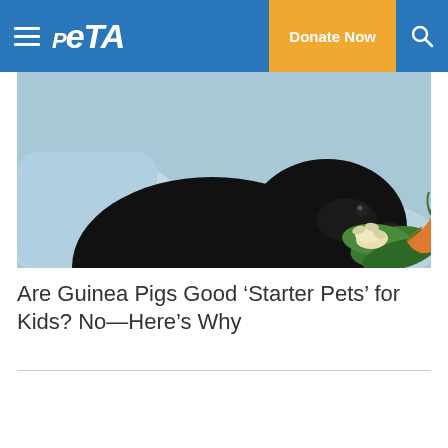PETA — Donate Now
[Figure (photo): A black guinea pig eating leafy greens and a carrot, sitting on a light blue soft surface.]
Are Guinea Pigs Good ‘Starter Pets’ for Kids? No—Here’s Why